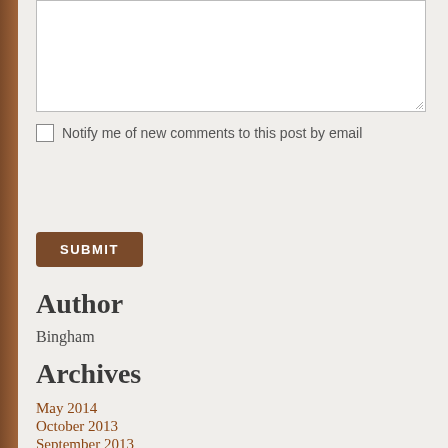[Figure (screenshot): Text area input box with resize handle in bottom-right corner]
Notify me of new comments to this post by email
SUBMIT
Author
Bingham
Archives
May 2014
October 2013
September 2013
April 2013
March 2013